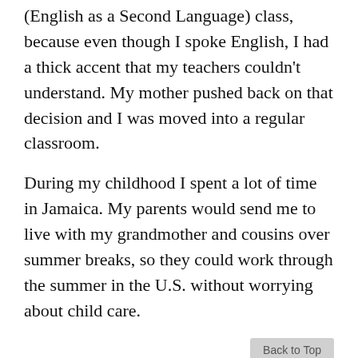(English as a Second Language) class, because even though I spoke English, I had a thick accent that my teachers couldn't understand. My mother pushed back on that decision and I was moved into a regular classroom.
During my childhood I spent a lot of time in Jamaica. My parents would send me to live with my grandmother and cousins over summer breaks, so they could work through the summer in the U.S. without worrying about child care.
I graduated high school in Miami as valedictorian of my class, and was the first in my family to attend college. I went to Harvard University for my undergraduate degree. I had two high school friends who were attending Harvard and they